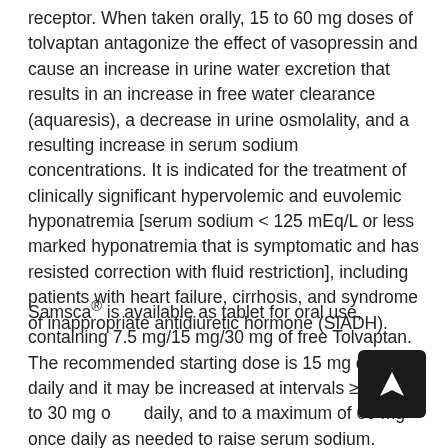receptor. When taken orally, 15 to 60 mg doses of tolvaptan antagonize the effect of vasopressin and cause an increase in urine water excretion that results in an increase in free water clearance (aquaresis), a decrease in urine osmolality, and a resulting increase in serum sodium concentrations. It is indicated for the treatment of clinically significant hypervolemic and euvolemic hyponatremia [serum sodium < 125 mEq/L or less marked hyponatremia that is symptomatic and has resisted correction with fluid restriction], including patients with heart failure, cirrhosis, and syndrome of inappropriate antidiuretic hormone (SIADH).
Samsca® is available as tablet for oral use, containing 7.5 mg/15 mg/30 mg of free Tolvaptan. The recommended starting dose is 15 mg once daily and it may be increased at intervals ≥ 24 hr to 30 mg once daily, and to a maximum of 60 mg once daily as needed to raise serum sodium.